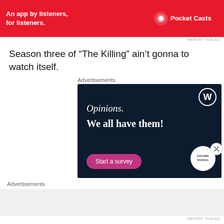[Figure (other): Pocket Casts advertisement banner: red background with text 'An app by listeners, for listeners.' and Pocket Casts logo on the right]
REPORT THIS AD
Season three of “The Killing” ain’t gonna to watch itself.
Advertisements
[Figure (other): WordPress/Crowdsignal advertisement: dark navy background with WordPress logo, text 'Opinions. We all have them!', a pink 'Start a survey' button, and Crowdsignal logo badge]
Advertisements
[Figure (other): Empty grey advertisement placeholder area]